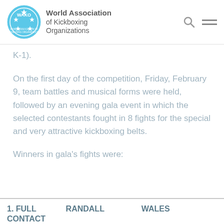World Association of Kickboxing Organizations
K-1).
On the first day of the competition, Friday, February 9, team battles and musical forms were held, followed by an evening gala event in which the selected contestants fought in 8 fights for the special and very attractive kickboxing belts.
Winners in gala’s fights were:
| 1. FULL
CONTACT | RANDALL | WALES |